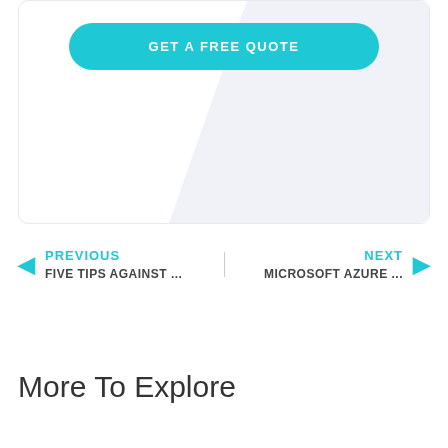[Figure (screenshot): A card with a light blue/grey diagonal background section and a teal 'GET A FREE QUOTE' button centered near the top]
GET A FREE QUOTE
PREVIOUS FIVE TIPS AGAINST ...
NEXT MICROSOFT AZURE ...
More To Explore